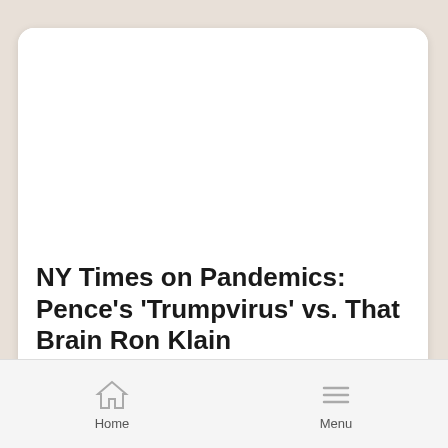[Figure (screenshot): White card area with blank image placeholder at top]
NY Times on Pandemics: Pence's 'Trumpvirus' vs. That Brain Ron Klain
Jeffrey Lord
Home   Menu